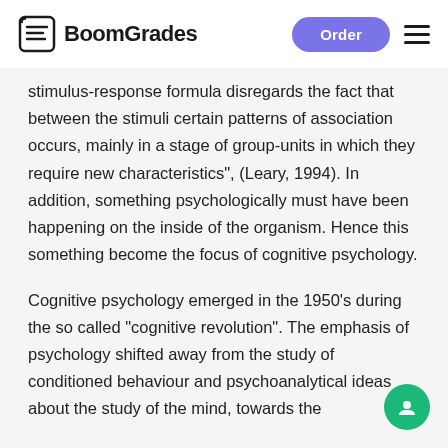BoomGrades | Order
stimulus-response formula disregards the fact that between the stimuli certain patterns of association occurs, mainly in a stage of group-units in which they require new characteristics", (Leary, 1994). In addition, something psychologically must have been happening on the inside of the organism. Hence this something become the focus of cognitive psychology.
Cognitive psychology emerged in the 1950’s during the so called “cognitive revolution”. The emphasis of psychology shifted away from the study of conditioned behaviour and psychoanalytical ideas about the study of the mind, towards the